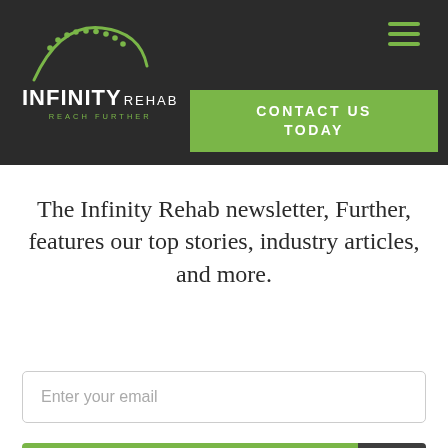[Figure (logo): Infinity Rehab logo with green arc and dots above text reading INFINITY REHAB REACH FURTHER on dark background]
CONTACT US TODAY
The Infinity Rehab newsletter, Further, features our top stories, industry articles, and more.
Enter your email
SUBMIT